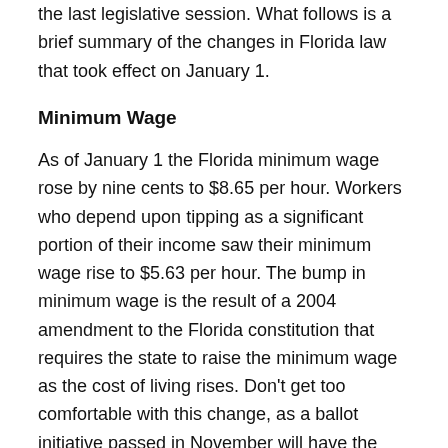the last legislative session. What follows is a brief summary of the changes in Florida law that took effect on January 1.
Minimum Wage
As of January 1 the Florida minimum wage rose by nine cents to $8.65 per hour. Workers who depend upon tipping as a significant portion of their income saw their minimum wage rise to $5.63 per hour. The bump in minimum wage is the result of a 2004 amendment to the Florida constitution that requires the state to raise the minimum wage as the cost of living rises. Don’t get too comfortable with this change, as a ballot initiative passed in November will have the minimum wage rising to $10 an hour in September.
Foster Families, Pardon, School B...